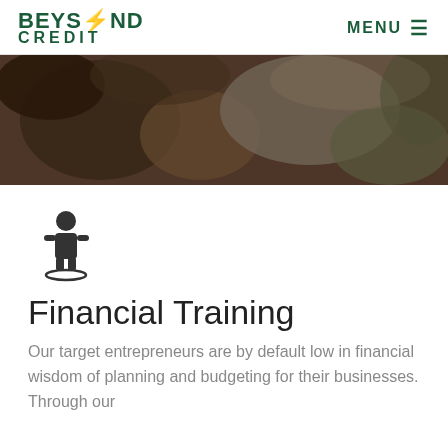BEYOND CREDIT | MENU
[Figure (photo): Close-up photo of a person's face and hands near rocky ground, dark earthy tones]
[Figure (illustration): Person/location pin icon — a stylized human figure standing on an oval base, representing a location marker]
Financial Training
Our target entrepreneurs are by default low in financial wisdom of planning and budgeting for their businesses. Through our